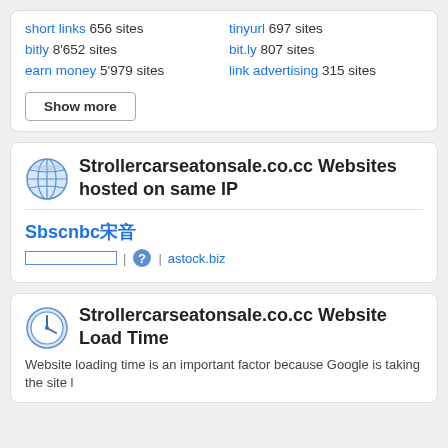short links 656 sites
tinyurl 697 sites
bitly 8'652 sites
bit.ly 807 sites
earn money 5'979 sites
link advertising 315 sites
Show more
Strollercarseatonsale.co.cc Websites hosted on same IP
Sbscnbc宋音
| ? | astock.biz
Strollercarseatonsale.co.cc Website Load Time
Website loading time is an important factor because Google is taking the site l